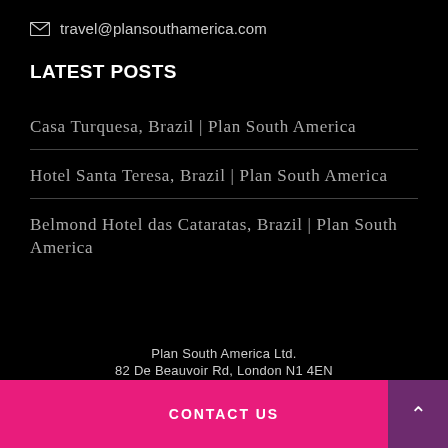travel@plansouthamerica.com
LATEST POSTS
Casa Turquesa, Brazil | Plan South America
Hotel Santa Teresa, Brazil | Plan South America
Belmond Hotel das Cataratas, Brazil | Plan South America
Plan South America Ltd.
82 De Beauvoir Rd, London N1 4EN
CONTACT US